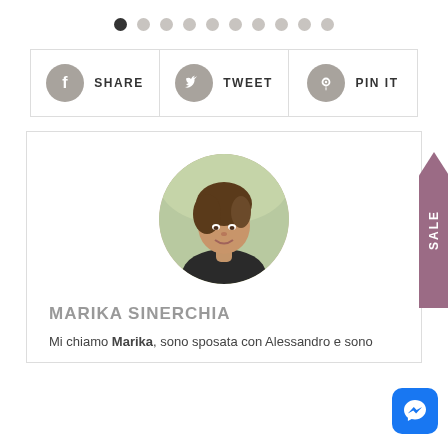[Figure (other): Pagination dots row with 10 dots, first dot active (dark), rest light gray]
[Figure (infographic): Social sharing buttons row: SHARE (Facebook), TWEET (Twitter), PIN IT (Pinterest), each with circular icon]
[Figure (photo): Circular profile photo of Marika Sinerchia, a woman with short brown hair, smiling outdoors]
MARIKA SINERCHIA
Mi chiamo Marika, sono sposata con Alessandro e sono